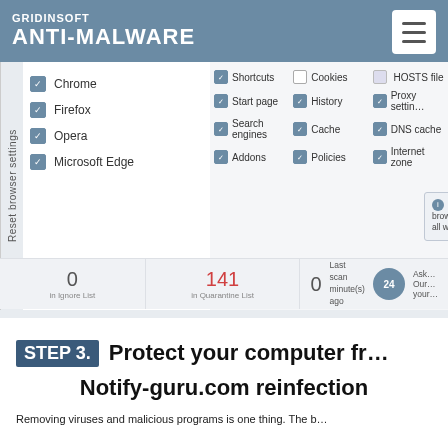[Figure (screenshot): GridinSoft Anti-Malware application showing 'Reset browser settings' panel. Browser list (Chrome, Firefox, Opera, Microsoft Edge) on left with checkboxes. Settings options (Shortcuts, Start page, Search engines, Addons, Cookies, History, Cache, Policies, HOSTS file, Proxy settings, DNS cache, Internet zone) in grid on right. Warning message about closing browsers. Reset button. Status bar at bottom showing 0 in Ignore List, 141 in Quarantine List, 0 Last scan minutes ago, and a 24/7 support icon.]
STEP 3. Protect your computer from Notify-guru.com reinfection
Removing viruses and malicious programs is one thing. The...